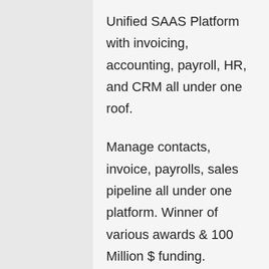Unified SAAS Platform with invoicing, accounting, payroll, HR, and CRM all under one roof.
Manage contacts, invoice, payrolls, sales pipeline all under one platform. Winner of various awards & 100 Million $ funding.
Deal comes with 1 power user, 10000 Credits Per/Month with various features. There is stacking option also available. With this deal you are